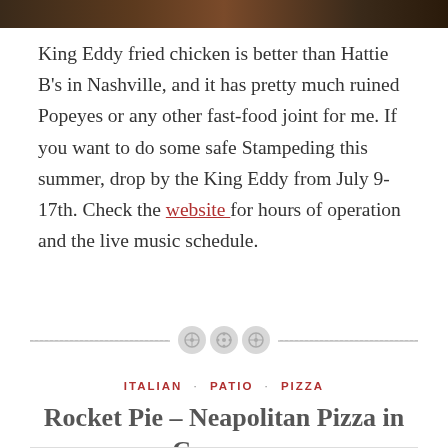[Figure (photo): Partial photo strip at top of page showing dark food/restaurant imagery]
King Eddy fried chicken is better than Hattie B's in Nashville, and it has pretty much ruined Popeyes or any other fast-food joint for me. If you want to do some safe Stampeding this summer, drop by the King Eddy from July 9-17th. Check the website for hours of operation and the live music schedule.
[Figure (illustration): Decorative section divider with three button-like circles on a dashed horizontal line]
ITALIAN · PATIO · PIZZA
Rocket Pie – Neapolitan Pizza in Canmore